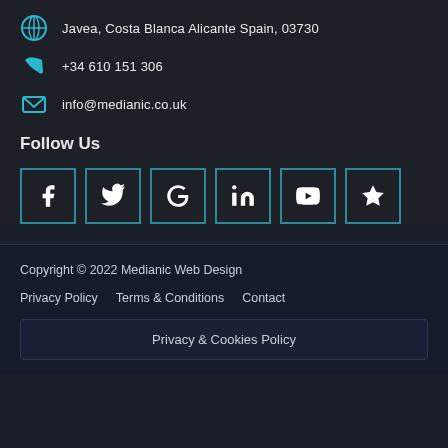Javea, Costa Blanca Alicante Spain, 03730
+34 610 151 306
info@medianic.co.uk
Follow Us
[Figure (infographic): Social media icons in teal-bordered boxes: Facebook, Twitter, Google, LinkedIn, YouTube, Star/Reviews]
Copyright © 2022 Medianic Web Design
Privacy Policy
Terms & Conditions
Contact
Privacy & Cookies Policy